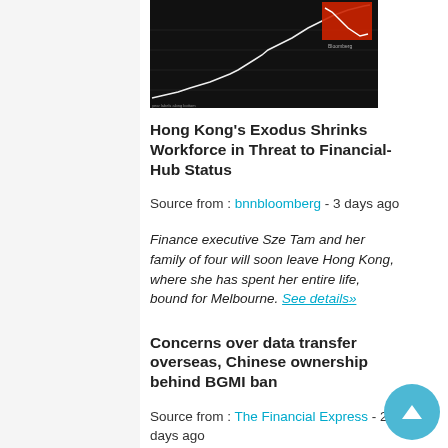[Figure (continuous-plot): A line chart showing financial/market data trending upward overall, with a small red inset chart showing a recent decline. Dark background with white line graph, Bloomberg watermark visible.]
Hong Kong's Exodus Shrinks Workforce in Threat to Financial-Hub Status
Source from : bnnbloomberg - 3 days ago
Finance executive Sze Tam and her family of four will soon leave Hong Kong, where she has spent her entire life, bound for Melbourne. See details»
Concerns over data transfer overseas, Chinese ownership behind BGMI ban
Source from : The Financial Express - 29 days ago